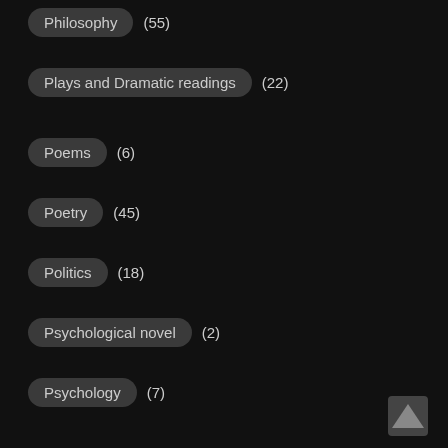Philosophy (55)
Plays and Dramatic readings (22)
Poems (6)
Poetry (45)
Politics (18)
Psychological novel (2)
Psychology (7)
Religion (23)
Romance (65)
Romantic (14)
Satire (20)
[Figure (other): Back to top arrow icon button in dark grey]